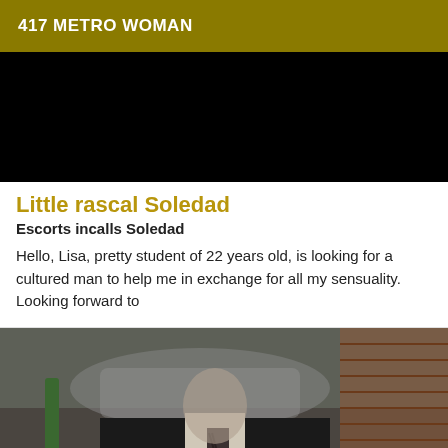417 METRO WOMAN
[Figure (photo): Dark/black image, appears to be a partially visible or blacked-out photograph]
Little rascal Soledad
Escorts incalls Soledad
Hello, Lisa, pretty student of 22 years old, is looking for a cultured man to help me in exchange for all my sensuality. Looking forward to
[Figure (photo): Photo of a man in a dark suit and striped tie, standing outdoors near a brick wall and parked car (Mercedes)]